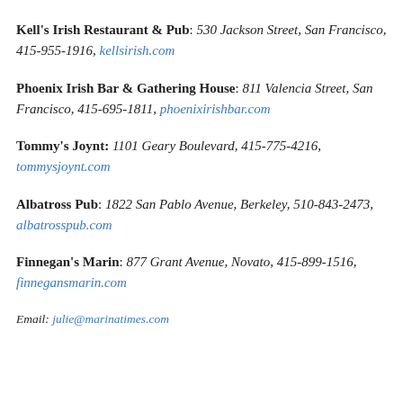Kell's Irish Restaurant & Pub: 530 Jackson Street, San Francisco, 415-955-1916, kellsirish.com
Phoenix Irish Bar & Gathering House: 811 Valencia Street, San Francisco, 415-695-1811, phoenixirishbar.com
Tommy's Joynt: 1101 Geary Boulevard, 415-775-4216, tommysjoynt.com
Albatross Pub: 1822 San Pablo Avenue, Berkeley, 510-843-2473, albatrosspub.com
Finnegan's Marin: 877 Grant Avenue, Novato, 415-899-1516, finnegansmarin.com
Email: julie@marinatimes.com